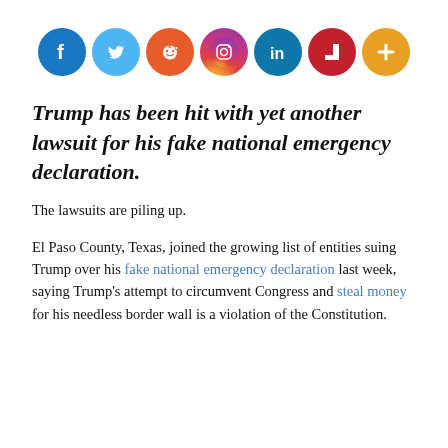[Figure (other): Row of social media sharing icons: Facebook (blue), Twitter (light blue), Reddit (orange), Instagram (gradient), LinkedIn (teal), Flipboard (red), and a plus/more button (orange)]
Trump has been hit with yet another lawsuit for his fake national emergency declaration.
The lawsuits are piling up.
El Paso County, Texas, joined the growing list of entities suing Trump over his fake national emergency declaration last week, saying Trump’s attempt to circumvent Congress and steal money for his needless border wall is a violation of the Constitution.